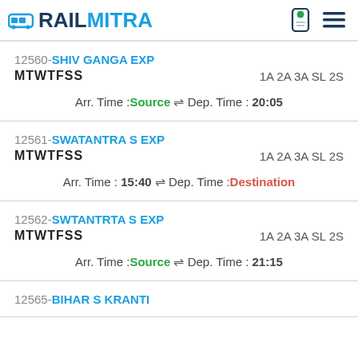RAILMITRA
12560-SHIV GANGA EXP
MTWTFSS	1A 2A 3A SL 2S
Arr. Time :Source ⇌ Dep. Time : 20:05
12561-SWATANTRA S EXP
MTWTFSS	1A 2A 3A SL 2S
Arr. Time : 15:40 ⇌ Dep. Time :Destination
12562-SWTANTRTA S EXP
MTWTFSS	1A 2A 3A SL 2S
Arr. Time :Source ⇌ Dep. Time : 21:15
12565-BIHAR S KRANTI